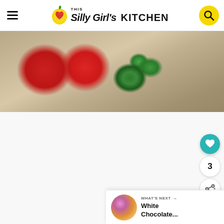This Silly Girl's KITCHEN
[Figure (photo): Close-up photo of raspberries and mint/broccoli on a wooden surface background]
[Figure (photo): Thumbnail photo of White Chocolate dessert for What's Next section]
WHAT'S NEXT → White Chocolate...